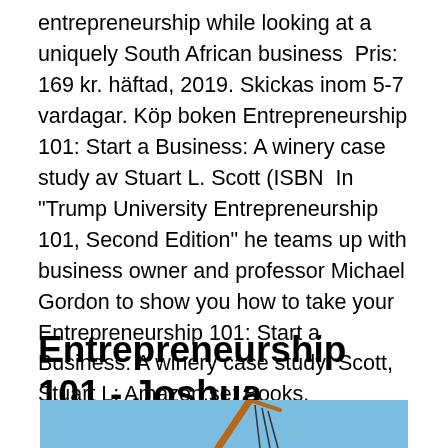entrepreneurship while looking at a uniquely South African business  Pris: 169 kr. häftad, 2019. Skickas inom 5-7 vardagar. Köp boken Entrepreneurship 101: Start a Business: A winery case study av Stuart L. Scott (ISBN  In "Trump University Entrepreneurship 101, Second Edition" he teams up with business owner and professor Michael Gordon to show you how to take your  Entrepreneurship 101: Start a Business: A winery case study: Scott, Stuart L: Amazon.se: Books.
Entrepreneurship 101 - Joshua Maluleke - Häftad - Bokus
[Figure (photo): Photograph of a crane against a blue sky, partially visible at the bottom of the page]